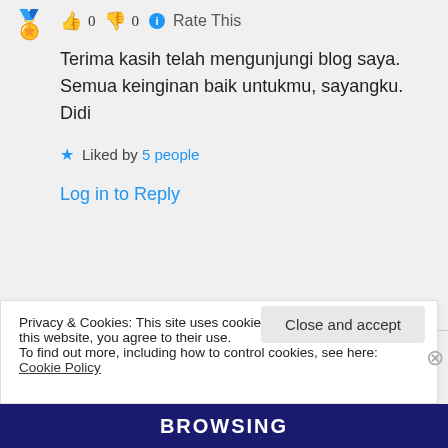👍 0 👎 0 ℹ Rate This
Terima kasih telah mengunjungi blog saya. Semua keinginan baik untukmu, sayangku. Didi
★ Liked by 5 people
Log in to Reply
Dela on 18/05/2017 at 09:55
Privacy & Cookies: This site uses cookies. By continuing to use this website, you agree to their use. To find out more, including how to control cookies, see here: Cookie Policy
Close and accept